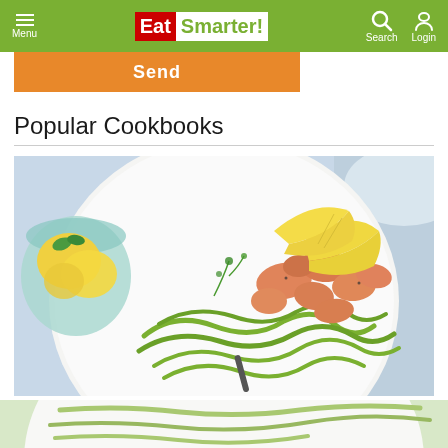Menu | EatSmarter! | Search Login
Send
Popular Cookbooks
[Figure (photo): A white plate with zucchini noodles (zoodles) topped with sautéed salmon pieces, dill, and lemon wedges. A glass of lemon water is visible on the left. The background is a light blue-grey surface.]
[Figure (photo): Partial view of a second food photo showing a similar dish, cut off at the bottom of the page.]